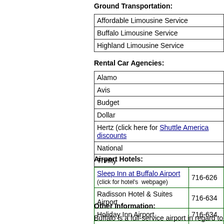Ground Transportation:
| Affordable Limousine Service |
| Buffalo Limousine Service |
| Highland Limousine Service |
Rental Car Agencies:
| Alamo |
| Avis |
| Budget |
| Dollar |
| Hertz (click here for Shuttle America discounts) |
| National |
| Thrifty |
Airport Hotels:
| Sleep Inn at Buffalo Airport (click for hotel's webpage) | 716-626 |
| Radisson Hotel & Suites Airport | 716-634 |
| Holiday Inn Airport | 716-634 |
| Hyatt Regency Buffalo | 716-856 |
| Adam's Mark Hotel | 716-845 |
Other Information:
Buffalo is a full-service airport in regard to ame